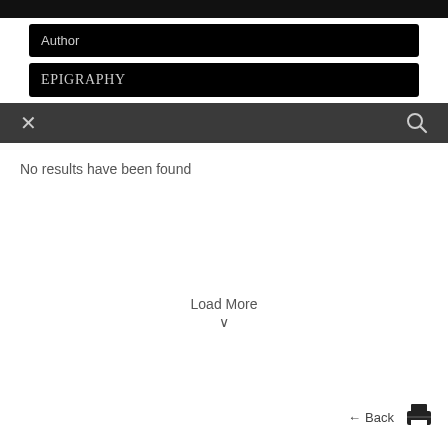[Figure (screenshot): Top black bar (cropped UI element)]
Author
EPIGRAPHY
[Figure (screenshot): Toolbar with X (close) icon on the left and magnifying glass (search) icon on the right, dark grey background]
No results have been found
Load More
← Back
[Figure (other): Print icon (printer symbol)]